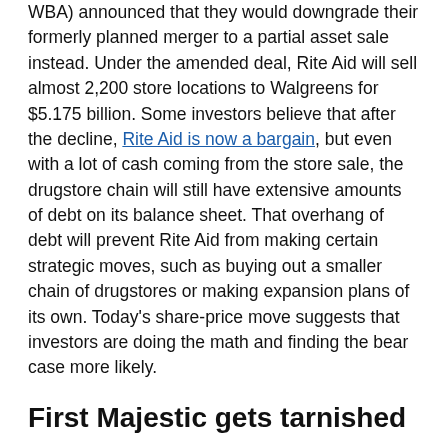WBA) announced that they would downgrade their formerly planned merger to a partial asset sale instead. Under the amended deal, Rite Aid will sell almost 2,200 store locations to Walgreens for $5.175 billion. Some investors believe that after the decline, Rite Aid is now a bargain, but even with a lot of cash coming from the store sale, the drugstore chain will still have extensive amounts of debt on its balance sheet. That overhang of debt will prevent Rite Aid from making certain strategic moves, such as buying out a smaller chain of drugstores or making expansion plans of its own. Today's share-price move suggests that investors are doing the math and finding the bear case more likely.
First Majestic gets tarnished
First Majestic Silver stock dropped 8% after a horrible day for the precious metals markets. Gold prices fell more than $20 per ounce to about $1,220, and silver was down about $0.50 per ounce to just above $16. Many mining stocks fell today, but First Majestic is particularly leveraged to